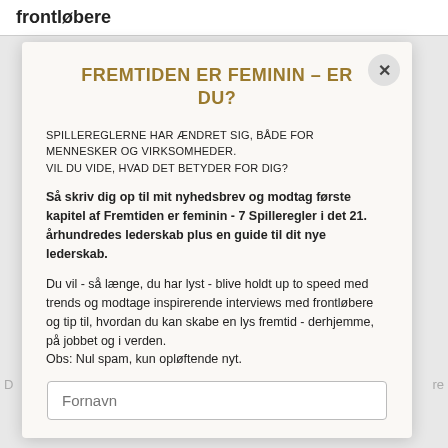frontløbere
FREMTIDEN ER FEMININ – ER DU?
SPILLEREGLERNE HAR ÆNDRET SIG, BÅDE FOR MENNESKER OG VIRKSOMHEDER.
VIL DU VIDE, HVAD DET BETYDER FOR DIG?
Så skriv dig op til mit nyhedsbrev og modtag første kapitel af Fremtiden er feminin - 7 Spilleregler i det 21. århundredes lederskab plus en guide til dit nye lederskab.
Du vil - så længe, du har lyst - blive holdt up to speed med trends og modtage inspirerende interviews med frontløbere og tip til, hvordan du kan skabe en lys fremtid - derhjemme, på jobbet og i verden.
Obs: Nul spam, kun opløftende nyt.
Fornavn